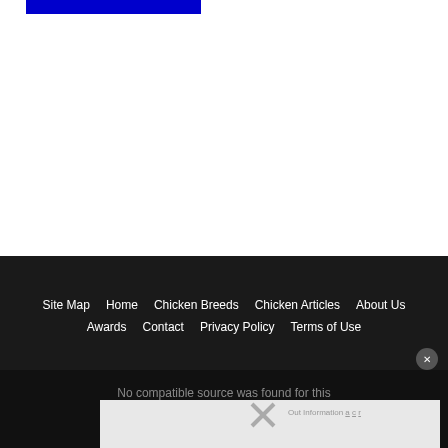[Figure (screenshot): Blue horizontal bar at top of page, partial website header]
Site Map   Home   Chicken Breeds   Chicken Articles   About Us   Awards   Contact   Privacy Policy   Terms of Use
No compatible source was found for this media.